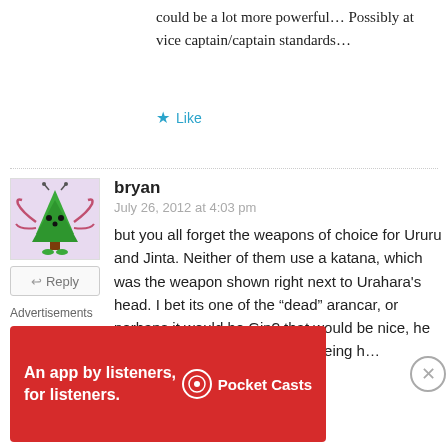could be a lot more powerful… Possibly at vice captain/captain standards…
Like
bryan
July 26, 2012 at 4:03 pm
but you all forget the weapons of choice for Ururu and Jinta. Neither of them use a katana, which was the weapon shown right next to Urahara's head. I bet its one of the "dead" arancar, or perhaps it would be Gin? that would be nice, he died too quickly for my taste, seeing h…
[Figure (illustration): Cartoon avatar of a green Christmas tree character with antennae and pink tentacle-like arms, on a light purple background]
Reply
Advertisements
[Figure (other): Pocket Casts advertisement banner with red background, text 'An app by listeners, for listeners.' and Pocket Casts logo]